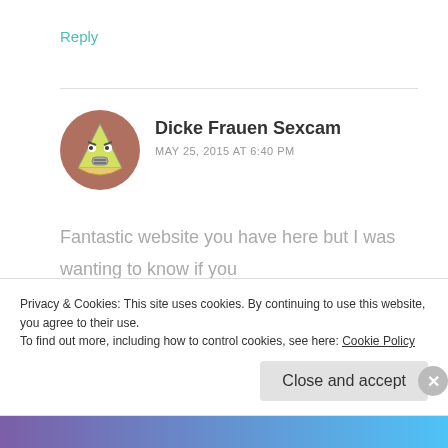Reply
[Figure (illustration): Circular avatar with a cartoon angry pizza slice character on a brownish-pink background]
Dicke Frauen Sexcam
MAY 25, 2015 AT 6:40 PM
Fantastic website you have here but I was wanting to know if you knew of any user discussion forums that cover the same topics talked about in this article? I'd really love to be a part of
Privacy & Cookies: This site uses cookies. By continuing to use this website, you agree to their use.
To find out more, including how to control cookies, see here: Cookie Policy
Close and accept